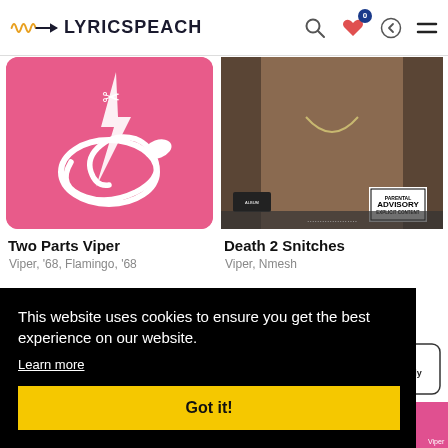LYRICSPEACH
[Figure (screenshot): Two Parts Viper album cover — pink/magenta background with white snake illustration]
Two Parts Viper
Viper, '68, Flamingo, '68
[Figure (screenshot): Death 2 Snitches album cover — photo of man with explicit content advisory sticker]
Death 2 Snitches
Viper, Nmesh
This website uses cookies to ensure you get the best experience on our website.
Learn more
Got it!